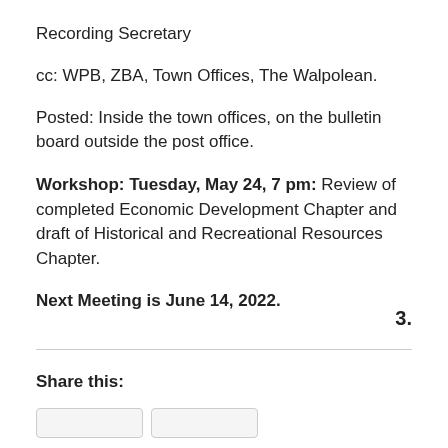Recording Secretary
cc: WPB, ZBA, Town Offices, The Walpolean.
Posted: Inside the town offices, on the bulletin board outside the post office.
Workshop: Tuesday, May 24, 7 pm: Review of completed Economic Development Chapter and draft of Historical and Recreational Resources Chapter.
Next Meeting is June 14, 2022.
3.
Share this: